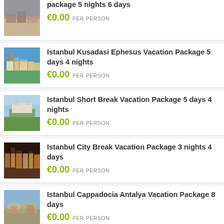package 5 nights 6 days — €0.00 PER PERSON
Istanbul Kusadasi Ephesus Vacation Package 5 days 4 nights — €0.00 PER PERSON
Istanbul Short Break Vacation Package 5 days 4 nights — €0.00 PER PERSON
Istanbul City Break Vacation Package 3 nights 4 days — €0.00 PER PERSON
Istanbul Cappadocia Antalya Vacation Package 8 days — €0.00 PER PERSON